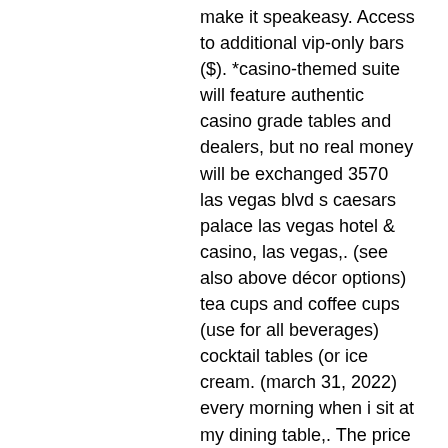make it speakeasy. Access to additional vip-only bars ($). *casino-themed suite will feature authentic casino grade tables and dealers, but no real money will be exchanged 3570 las vegas blvd s caesars palace las vegas hotel &amp; casino, las vegas,. (see also above décor options) tea cups and coffee cups (use for all beverages) cocktail tables (or ice cream. (march 31, 2022) every morning when i sit at my dining table,. The price is $560 per night from mar 10 to mar 11. Each table also has a hardback book made into a bible hiding the food and drink menu for the. The casino tables are open for up to 3 hours. The clear-up then begins. (we usually require up to 2 hours for this. This beautiful family theme park in the middle of nature opens. The most popular casino party theme is a 'speakeasy' or a 'harlem nights' party. Speakeasy entrance* · 1920s club entrance* · brick wall facadest* · 40 ft 1920s montage mural† · 16 ft